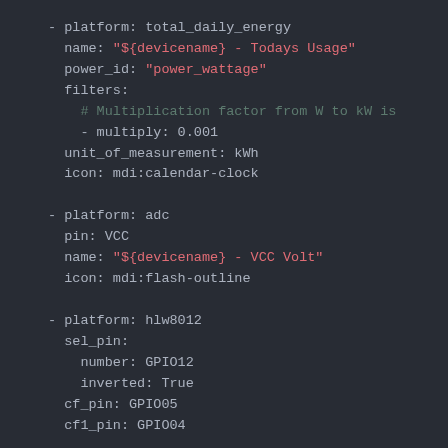[Figure (screenshot): YAML configuration code snippet showing sensor platform definitions including total_daily_energy, adc, and hlw8012 platforms with their respective properties, string values highlighted in pink/red and comments in green.]